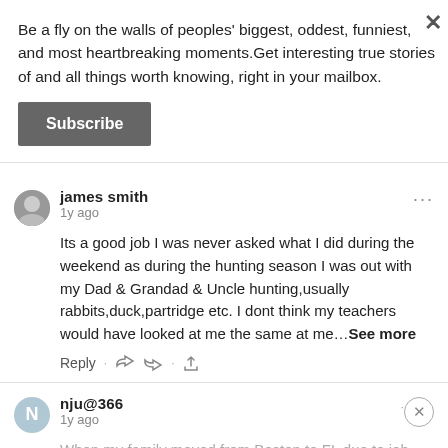Be a fly on the walls of peoples' biggest, oddest, funniest, and most heartbreaking moments.Get interesting true stories of and all things worth knowing, right in your mailbox.
Subscribe
james smith
1y ago
Its a good job I was never asked what I did during the weekend as during the hunting season I was out with my Dad & Grandad & Uncle hunting,usually rabbits,duck,partridge etc. I dont think my teachers would have looked at me the same at me…See more
nju@366
1y ago
When my family moved from Boston to FL due to job transfer, I had to start 1st grade in a new school.